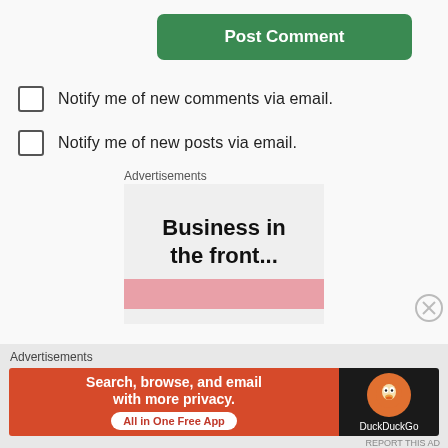Post Comment
Notify me of new comments via email.
Notify me of new posts via email.
Advertisements
[Figure (screenshot): Advertisement: 'Business in the front...' with pink graphic, inside a light grey box]
[Figure (screenshot): Advertisement: DuckDuckGo - 'Search, browse, and email with more privacy. All in One Free App']